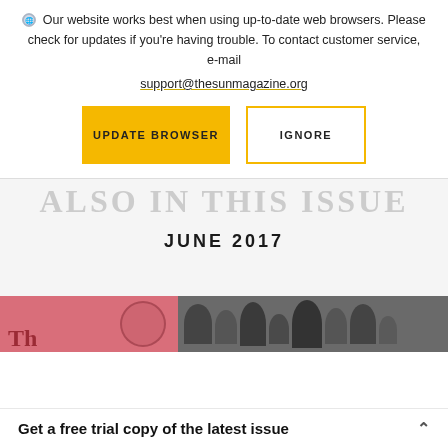Our website works best when using up-to-date web browsers. Please check for updates if you're having trouble. To contact customer service, e-mail support@thesunmagazine.org
UPDATE BROWSER
IGNORE
JUNE 2017
[Figure (photo): Partially visible magazine covers: left side shows a pink cover with partial text 'Th' and a circular emblem; right side shows a black and white photo of people.]
Get a free trial copy of the latest issue